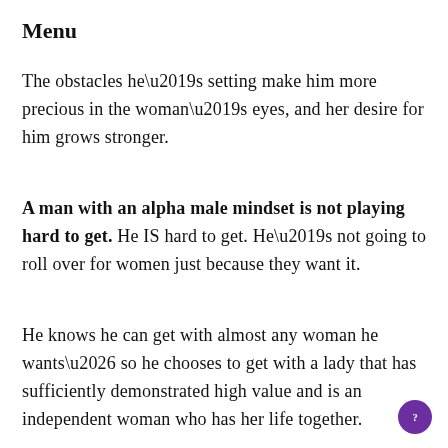Menu
The obstacles he’s setting make him more precious in the woman’s eyes, and her desire for him grows stronger.
A man with an alpha male mindset is not playing hard to get. He IS hard to get. He’s not going to roll over for women just because they want it.
He knows he can get with almost any woman he wants… so he chooses to get with a lady that has sufficiently demonstrated high value and is an independent woman who has her life together.